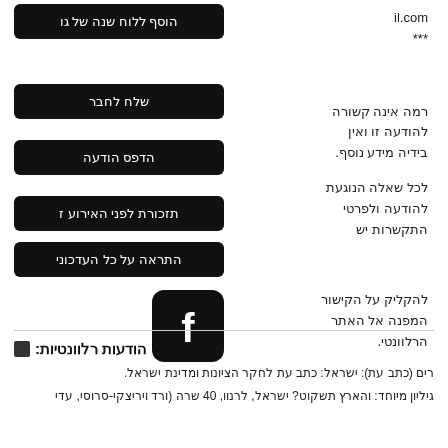il.com
***
רמה אינה קשורה להודעה זו ואין בידיה מידע נוסף. לכל שאלה הנוגעת להודעה ולפרטי התקשרות יש להקליק על הקישור המפנה אל האתר הרלוונטי.
הוסף ללוח שנה של גו
שלח לחבר
הדפס הודעה
תזכורת לפני האירוע ז
התראה על כל העדכוני
[Figure (logo): Facebook icon button, black rounded square with white 'f' logo]
הודעות רלוונטיות:
רים (כתב עת): ישראל: כתב עת לחקר הציונות ומדינת ישראל.
גיליון מיוחד: והארץ תשקוט? ישראל, לרנוו, 40 שרה (ורד ויריצקי-סרוסי, עדי